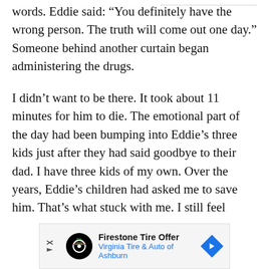asked if he had any last words. Eddie said: “You definitely have the wrong person. The truth will come out one day.” Someone behind another curtain began administering the drugs.
I didn’t want to be there. It took about 11 minutes for him to die. The emotional part of the day had been bumping into Eddie’s three kids just after they had said goodbye to their dad. I have three kids of my own. Over the years, Eddie’s children had asked me to save him. That’s what stuck with me. I still feel
[Figure (other): Advertisement banner for Firestone Tire Offer - Virginia Tire & Auto of Ashburn]